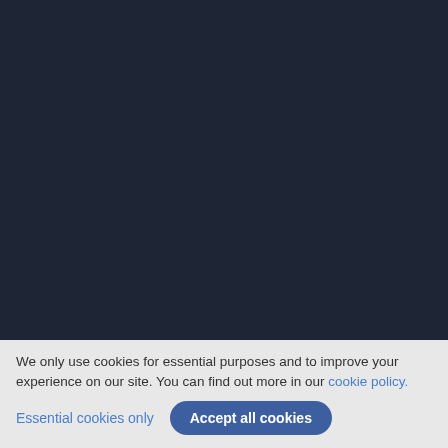Plans & pricing
Premium features
For individuals & groups
For enterprise
For universities
For students
Get involved
Become an Overleaf advisor
Participate in user research
Hjelp
Dokumentasjon
We only use cookies for essential purposes and to improve your experience on our site. You can find out more in our cookie policy.
Essential cookies only
Accept all cookies